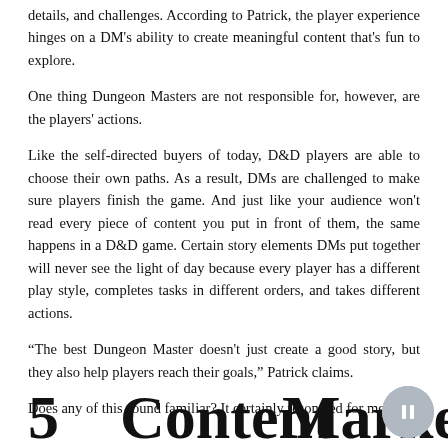details, and challenges. According to Patrick, the player experience hinges on a DM's ability to create meaningful content that's fun to explore.
One thing Dungeon Masters are not responsible for, however, are the players' actions.
Like the self-directed buyers of today, D&D players are able to choose their own paths. As a result, DMs are challenged to make sure players finish the game. And just like your audience won't read every piece of content you put in front of them, the same happens in a D&D game. Certain story elements DMs put together will never see the light of day because every player has a different play style, completes tasks in different orders, and takes different actions.
“The best Dungeon Master doesn't just create a good story, but they also help players reach their goals,” Patrick claims.
Does any of this sound familiar? It certainly resonated for me.
5   Content   Marketing